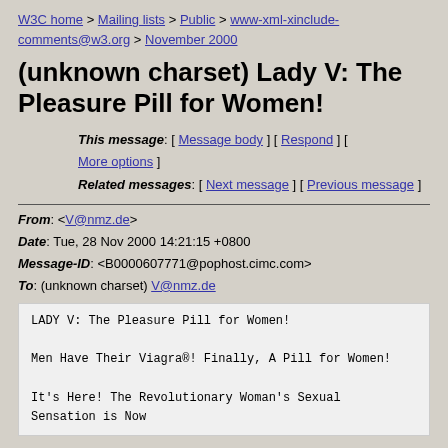W3C home > Mailing lists > Public > www-xml-xinclude-comments@w3.org > November 2000
(unknown charset) Lady V: The Pleasure Pill for Women!
This message: [ Message body ] [ Respond ] [ More options ]
Related messages: [ Next message ] [ Previous message ]
From: <V@nmz.de>
Date: Tue, 28 Nov 2000 14:21:15 +0800
Message-ID: <B0000607771@pophost.cimc.com>
To: (unknown charset) V@nmz.de
LADY V: The Pleasure Pill for Women!

Men Have Their Viagra®! Finally, A Pill for Women!

It's Here! The Revolutionary Woman's Sexual Sensation is Now